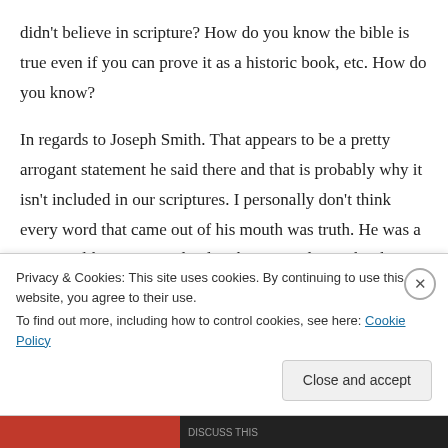didn't believe in scripture? How do you know the bible is true even if you can prove it as a historic book, etc. How do you know?
In regards to Joseph Smith. That appears to be a pretty arrogant statement he said there and that is probably why it isn't included in our scriptures. I personally don't think every word that came out of his mouth was truth. He was a man just like we are and only when moved upon by the Spirit of prophecy was he acting as a
Privacy & Cookies: This site uses cookies. By continuing to use this website, you agree to their use.
To find out more, including how to control cookies, see here: Cookie Policy